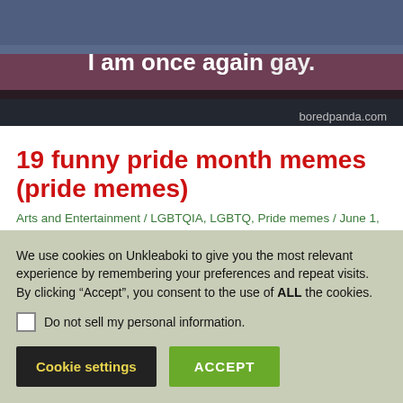[Figure (screenshot): Meme image showing text 'I am once again gay.' with 'boredpanda.com' watermark on a dark/blueish background]
19 funny pride month memes (pride memes)
Arts and Entertainment / LGBTQIA, LGBTQ, Pride memes / June 1, 2022
[Figure (infographic): Social share icons: WhatsApp, Tumblr, Reddit, LinkedIn, Twitter, Facebook, More]
We use cookies on Unkleaboki to give you the most relevant experience by remembering your preferences and repeat visits. By clicking “Accept”, you consent to the use of ALL the cookies.
Do not sell my personal information.